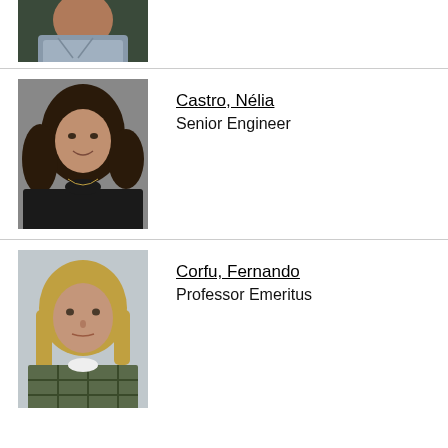[Figure (photo): Partial photo of a man in a light blue sweater, cropped at the top of the page.]
[Figure (photo): Photo of a woman with dark curly hair wearing a black top, smiling.]
Castro, Nélia
Senior Engineer
[Figure (photo): Photo of a man with long blonde hair wearing a plaid shirt.]
Corfu, Fernando
Professor Emeritus